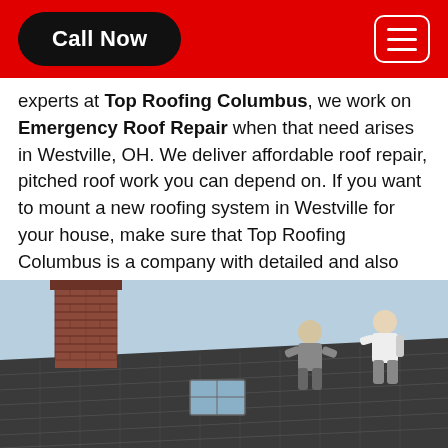Call Now | [menu]
experts at Top Roofing Columbus, we work on Emergency Roof Repair when that need arises in Westville, OH. We deliver affordable roof repair, pitched roof work you can depend on. If you want to mount a new roofing system in Westville for your house, make sure that Top Roofing Columbus is a company with detailed and also dependable New Roofing Installation in Westville. We intend to protect your possessions and household with top-quality roofing services in Westville.
[Figure (photo): Two workers on a dark slate roof with a brick chimney on the left side, working on roof installation or repair]